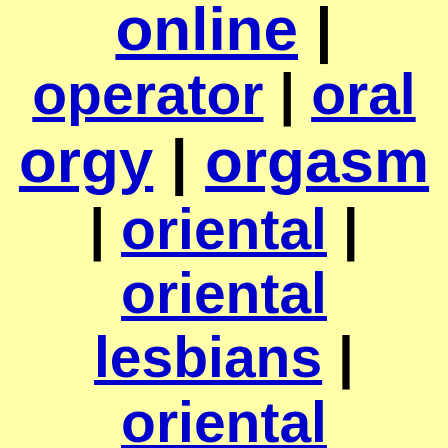online | operator | oral orgy | orgasm | oriental | oriental lesbians | oriental